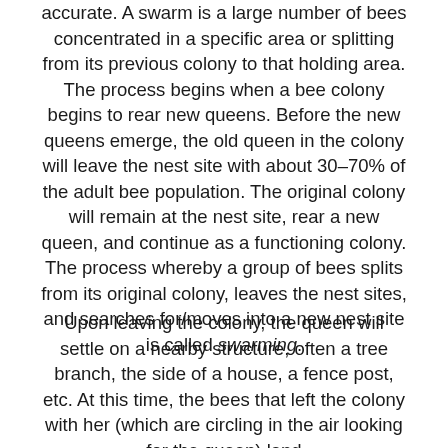accurate. A swarm is a large number of bees concentrated in a specific area or splitting from its previous colony to that holding area. The process begins when a bee colony begins to rear new queens. Before the new queens emerge, the old queen in the colony will leave the nest site with about 30–70% of the adult bee population. The original colony will remain at the nest site, rear a new queen, and continue as a functioning colony. The process whereby a group of bees splits from its original colony, leaves the nest sites, and searches for/moves into a new nest site is called swarming.
Upon leaving the colony, the queen will settle on a nearby structure, often a tree branch, the side of a house, a fence post, etc. At this time, the bees that left the colony with her (which are circling in the air looking for the queen) land